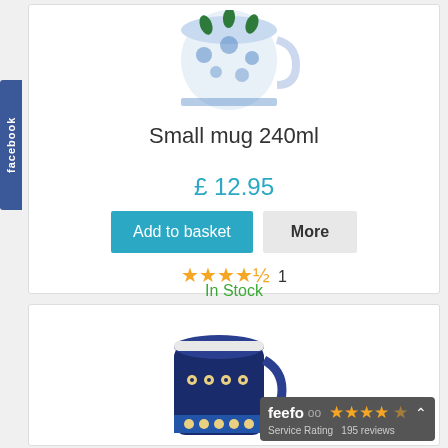[Figure (photo): Blue and white floral patterned ceramic mug, top portion visible]
Small mug 240ml
£ 12.95
Add to basket  More
★★★★½ 1
In Stock
[Figure (photo): Dark blue ceramic mug with peacock/floral pattern, partially visible]
[Figure (logo): Feefo Service Rating badge showing 3.5 stars and 195 reviews]